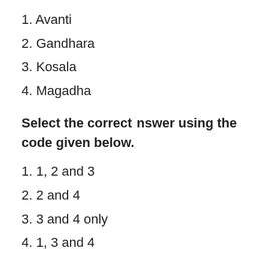1. Avanti
2. Gandhara
3. Kosala
4. Magadha
Select the correct nswer using the code given below.
1. 1, 2 and 3
2. 2 and 4
3. 3 and 4 only
4. 1, 3 and 4